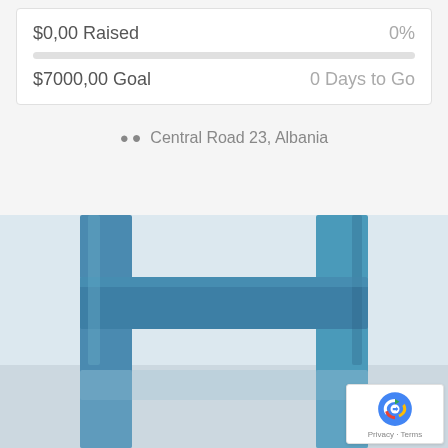$0,00 Raised   0%
$7000,00 Goal   0 Days to Go
Central Road 23, Albania
[Figure (photo): Close-up photo of a blue wooden chair against a light grey/white background, showing the back slats and seat of the chair with a reflection visible below.]